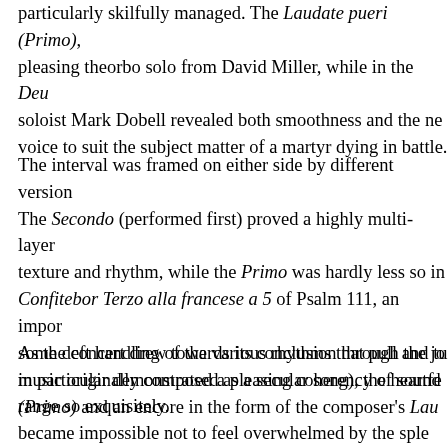particularly skilfully managed. The Laudate pueri (Primo), pleasing theorbo solo from David Miller, while in the Deu soloist Mark Dobell revealed both smoothness and the ne voice to suit the subject matter of a martyr dying in battle.
The interval was framed on either side by different version The Secondo (performed first) proved a highly multi-layer texture and rhythm, while the Primo was hardly less so in Confitebor Terzo alla francese a 5 of Psalm 111, an impor some deft handling of the various rhythms that pull and tu in particular demonstrated a pleasing coherency of sound range so exquisitely.
As the concert drew towards its conclusion through the jo music originally composed as a secular song), the heartfe (Primo) and an encore in the form of the composer's Lau became impossible not to feel overwhelmed by the sple